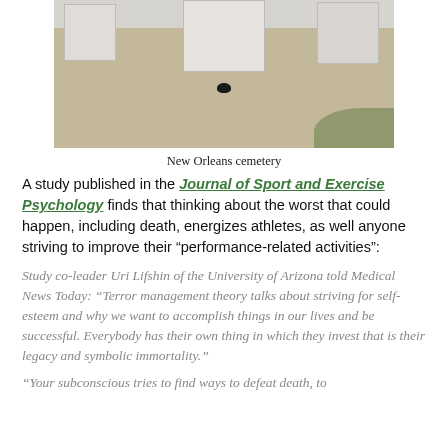[Figure (photo): Black and white/color photo of a New Orleans cemetery with tombs and a black cat in the foreground on dirt ground, with some green foliage visible at the edge.]
New Orleans cemetery
A study published in the Journal of Sport and Exercise Psychology finds that thinking about the worst that could happen, including death, energizes athletes, as well anyone striving to improve their “performance-related activities”:
Study co-leader Uri Lifshin of the University of Arizona told Medical News Today: “Terror management theory talks about striving for self-esteem and why we want to accomplish things in our lives and be successful. Everybody has their own thing in which they invest that is their legacy and symbolic immortality.”
“Your subconscious tries to find ways to defeat death, to